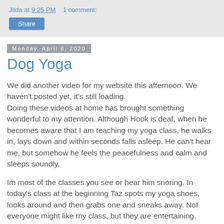Jilda at 9:25 PM    1 comment:
Share
Monday, April 6, 2020
Dog Yoga
We did another video for my website this afternoon.  We haven't posted yet, it's still loading.
Doing these videos at home has brought something wonderful to my attention.  Although Hook is deaf, when he becomes aware that I am teaching my yoga class, he walks in, lays down and within seconds falls asleep.  He can't hear me, but somehow he feels the peacefulness and calm and sleeps soundly.
Im most of the classes you see or hear him snoring.  In today's class at the beginning Taz spots my yoga shoes, looks around and then grabs one and sneaks away.  Not everyone might like my class, but they are entertaining.